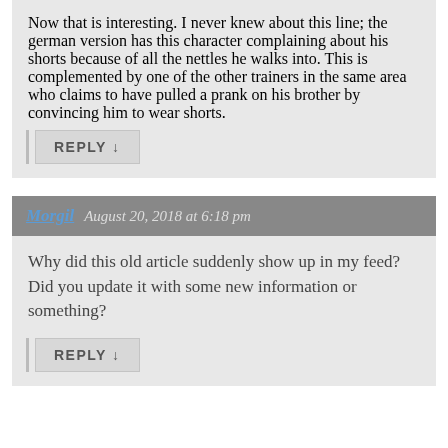Now that is interesting. I never knew about this line; the german version has this character complaining about his shorts because of all the nettles he walks into. This is complemented by one of the other trainers in the same area who claims to have pulled a prank on his brother by convincing him to wear shorts.
REPLY ↓
Morgil  August 20, 2018 at 6:18 pm
Why did this old article suddenly show up in my feed? Did you update it with some new information or something?
REPLY ↓